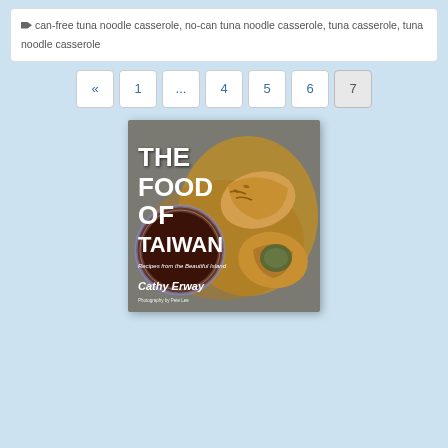can-free tuna noodle casserole, no-can tuna noodle casserole, tuna casserole, tuna noodle casserole
« 1 ... 4 5 6 7
[Figure (illustration): Book cover of 'The Food of Taiwan: Recipes from the Beautiful Island' by Cathy Erway, photography by Pete Lee. Cover shows dumplings/potstickers with filling visible, and a bowl of dark sauce on a decorative plate background.]